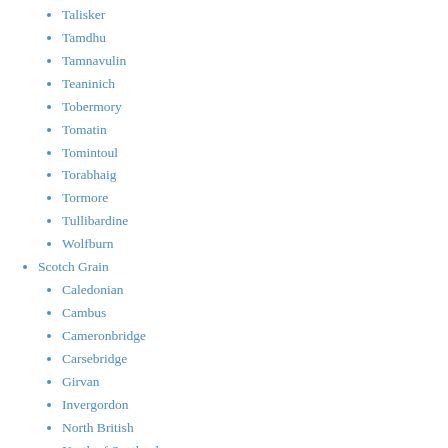Talisker
Tamdhu
Tamnavulin
Teaninich
Tobermory
Tomatin
Tomintoul
Torabhaig
Tormore
Tullibardine
Wolfburn
Scotch Grain
Caledonian
Cambus
Cameronbridge
Carsebridge
Girvan
Invergordon
North British
North of Scotland
Port Dundas
Starlaw
Strathclyde
America
Balcones
Barton
Breckenbridge